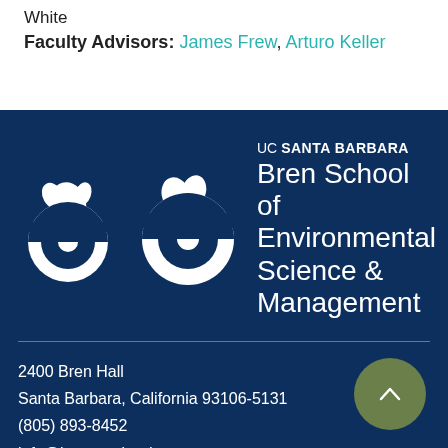White
Faculty Advisors: James Frew, Arturo Keller
[Figure (logo): UC Santa Barbara Bren School of Environmental Science & Management logo with white oak leaf and circle emblem on dark blue background]
2400 Bren Hall
Santa Barbara, California 93106-5131
(805) 893-8452
info@bren.ucsb.edu
[Figure (other): Google Maps icon with Map link and external link icon]